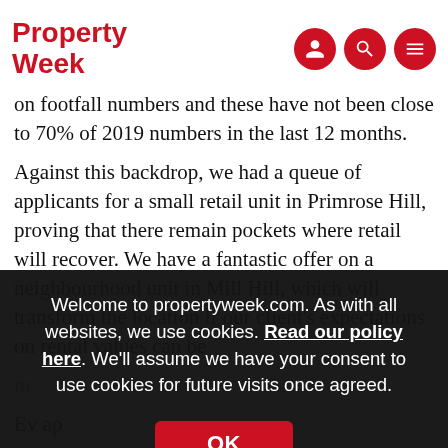Property Week
on footfall numbers and these have not been close to 70% of 2019 numbers in the last 12 months.
Against this backdrop, we had a queue of applicants for a small retail unit in Primrose Hill, proving that there remain pockets where retail will recover. We have a fantastic offer on a neighbourhood unit in Mill Hill, which will transform the location if our client's expectations on rental values can be m…
Ev… ap…
So… parrot in the Monty Python sketch.
Welcome to propertyweek.com. As with all websites, we use cookies. Read our policy here. We'll assume we have your consent to use cookies for future visits once agreed.